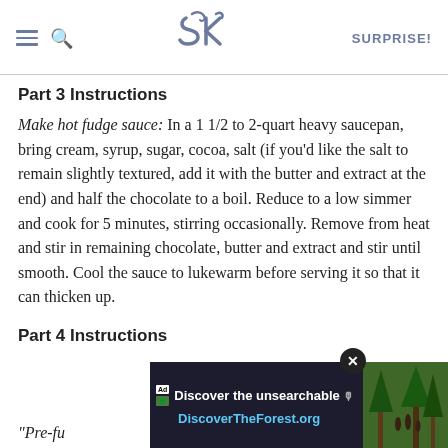SK | SURPRISE!
Part 3 Instructions
Make hot fudge sauce: In a 1 1/2 to 2-quart heavy saucepan, bring cream, syrup, sugar, cocoa, salt (if you'd like the salt to remain slightly textured, add it with the butter and extract at the end) and half the chocolate to a boil. Reduce to a low simmer and cook for 5 minutes, stirring occasionally. Remove from heat and stir in remaining chocolate, butter and extract and stir until smooth. Cool the sauce to lukewarm before serving it so that it can thicken up.
Part 4 Instructions
[Figure (screenshot): Advertisement banner for DiscoverTheForest.org overlaying the bottom portion of the page, with a close button (X), showing 'Discover the unsearchable' and 'DiscoverTheForest.org' text, with a forest photo on the right.]
"Pre-fu... r has